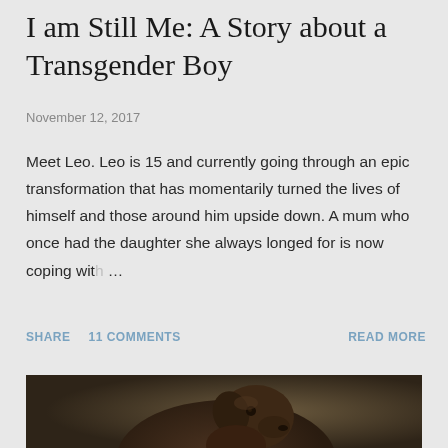I am Still Me: A Story about a Transgender Boy
November 12, 2017
Meet Leo. Leo is 15 and currently going through an epic transformation that has momentarily turned the lives of himself and those around him upside down. A mum who once had the daughter she always longed for is now coping with ...
SHARE   11 COMMENTS   READ MORE
[Figure (photo): A dark brown/chocolate colored Weimaraner or similar dog photographed against a dark brown/olive background, looking slightly upward to the left. Studio portrait style photo.]